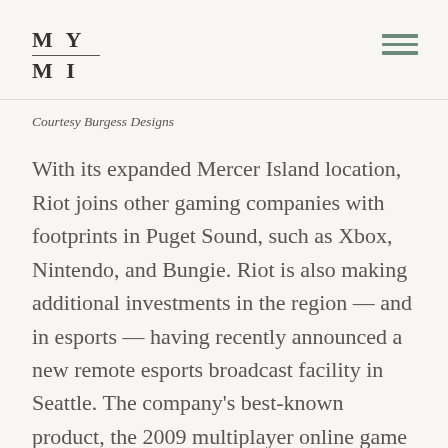MY MI
Courtesy Burgess Designs
With its expanded Mercer Island location, Riot joins other gaming companies with footprints in Puget Sound, such as Xbox, Nintendo, and Bungie. Riot is also making additional investments in the region — and in esports — having recently announced a new remote esports broadcast facility in Seattle. The company's best-known product, the 2009 multiplayer online game League of Legends, still has millions of active users playing 12 years later,